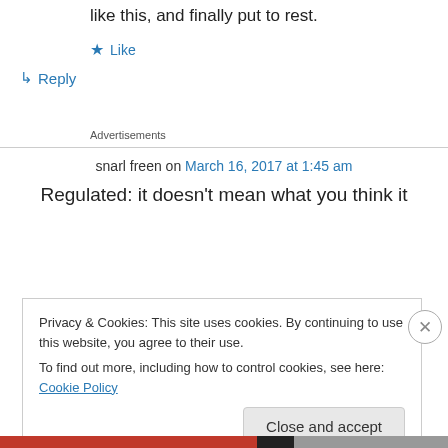like this, and finally put to rest.
★ Like
↳ Reply
Advertisements
snarl freen on March 16, 2017 at 1:45 am
Regulated: it doesn't mean what you think it
Privacy & Cookies: This site uses cookies. By continuing to use this website, you agree to their use.
To find out more, including how to control cookies, see here: Cookie Policy
Close and accept